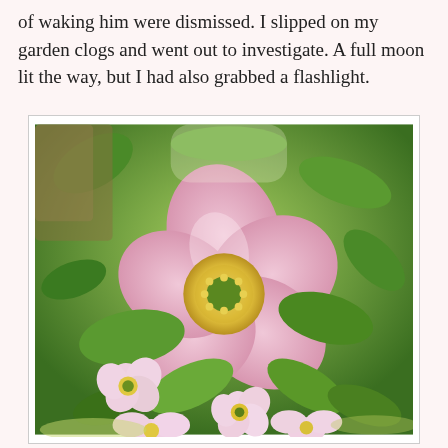of waking him were dismissed. I slipped on my garden clogs and went out to investigate. A full moon lit the way, but I had also grabbed a flashlight.
[Figure (photo): Close-up photograph of pink wild roses (dog roses) with yellow centers, surrounded by green leaves in bright sunlight. Several smaller pink roses are visible in the lower portion of the image.]